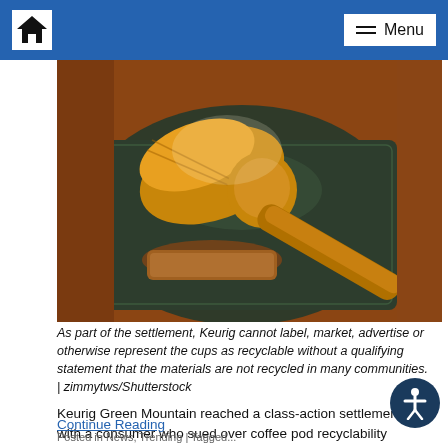Home | Menu
[Figure (photo): A wooden judge's gavel resting on a dark green leather-bound book on a wooden surface, lit dramatically from above.]
As part of the settlement, Keurig cannot label, market, advertise or otherwise represent the cups as recyclable without a qualifying statement that the materials are not recycled in many communities.  |  zimmytws/Shutterstock
Keurig Green Mountain reached a class-action settlement with a consumer who sued over coffee pod recyclability claims, agreeing to pay $10 million and add language indicating the plastic cups are “not recycled in many communities.”
Continue Reading
Posted in News, Trending | Tagged ...